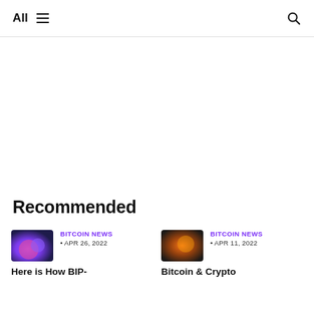All ☰ 🔍
Recommended
BITCOIN NEWS · APR 26, 2022 Here is How BIP-
BITCOIN NEWS · APR 11, 2022 Bitcoin & Crypto